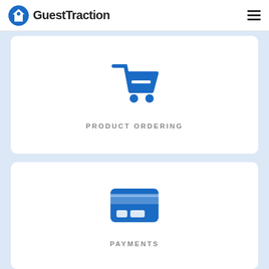GuestTraction
[Figure (illustration): Blue shopping cart icon for Product Ordering section]
PRODUCT ORDERING
[Figure (illustration): Blue credit card icon for Payments section]
PAYMENTS